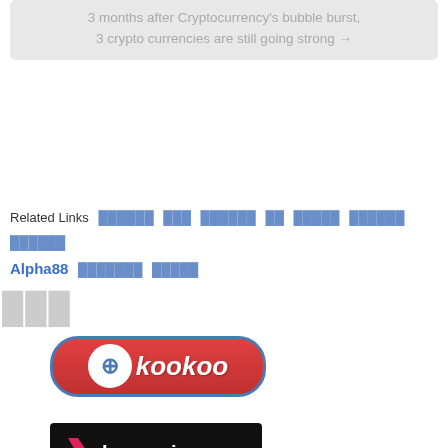3 months after Cryptocurrency's bubble burst, 3 crypto currencies are still going strong →
Related Links [Thai text links] Alpha88 [Thai text links]
[Thai characters]
[Figure (logo): kookoo logo - red pill-shaped button with blue border, circle with plus sign and kookoo text in white italic]
[Figure (logo): boecasino logo - black rectangle with pink/red flame icon and white boecasino text]